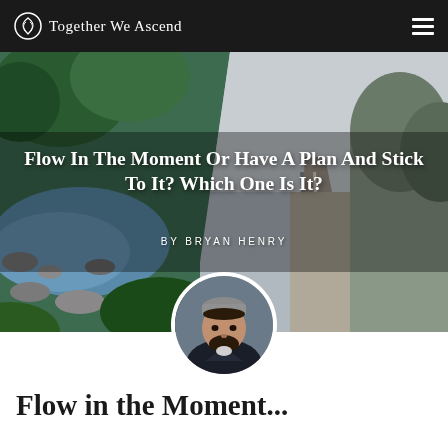Together We Ascend
[Figure (photo): Split composite hero image: left half shows a rocky river with lush green trees and flowing water; right half shows a straight road extending into the distance with grey skies. White text overlay reads the article title and author byline.]
Flow In The Moment Or Have A Plan And Stick To It? Which One Is It?
BY BRYAN HENRY
[Figure (photo): Circular portrait photo of a young bearded man wearing a grey beanie and dark jacket, looking directly at the camera.]
Flow in the Moment...